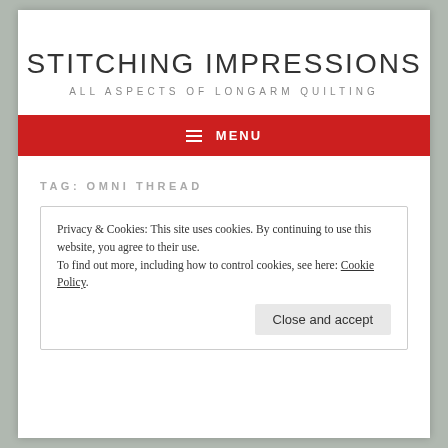STITCHING IMPRESSIONS
ALL ASPECTS OF LONGARM QUILTING
≡ MENU
TAG: OMNI THREAD
Privacy & Cookies: This site uses cookies. By continuing to use this website, you agree to their use.
To find out more, including how to control cookies, see here: Cookie Policy
Close and accept